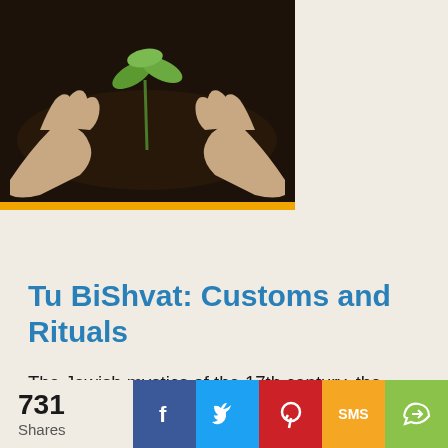[Figure (photo): Two hands holding a small green seedling/plant over dark soil]
Tu BiShvat: Customs and Rituals
The Jewish mystics of the 17th century, the Kabbalists, created a special ritual—modeled after the Passover seder—to celebrate God's presence in nature. Today in modern Israel, Tu BiShvat has become a national holiday, a tree planting festivaTu BiShvat is not mentioned in the Torah. Scholars believe the holiday was originally an agricultural festival, corresponding to the beginning of spring in Israel. But a critical historical event helped Tu BiShvat evolve from a simple
731 Shares — Facebook, Twitter, Pinterest, SMS, Share